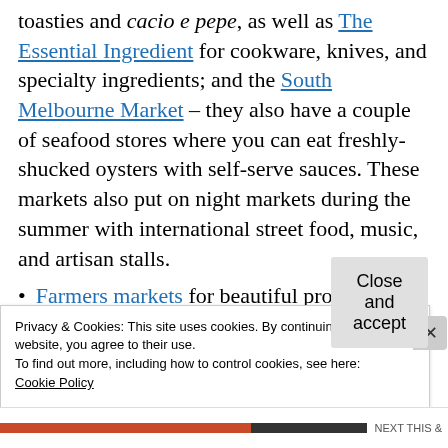toasties and cacio e pepe, as well as The Essential Ingredient for cookware, knives, and specialty ingredients; and the South Melbourne Market – they also have a couple of seafood stores where you can eat freshly-shucked oysters with self-serve sauces. These markets also put on night markets during the summer with international street food, music, and artisan stalls.
Farmers markets for beautiful produce and baked goods. They have coffee and hot food
Privacy & Cookies: This site uses cookies. By continuing to use this website, you agree to their use.
To find out more, including how to control cookies, see here:
Cookie Policy
Close and accept